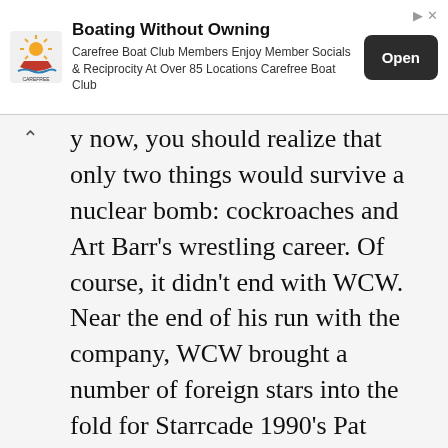[Figure (screenshot): Advertisement banner for Carefree Boat Club with logo, title 'Boating Without Owning', body text, and an 'Open' button]
y now, you should realize that only two things would survive a nuclear bomb: cockroaches and Art Barr's wrestling career. Of course, it didn't end with WCW. Near the end of his run with the company, WCW brought a number of foreign stars into the fold for Starrcade 1990's Pat O'Connor International tag Team Tournament. Some teams were poorly thrown together tandems like South Africa's Sgt. Krueger and Col. DeKlerk (Rocco Rock of Public Enemy fame) or